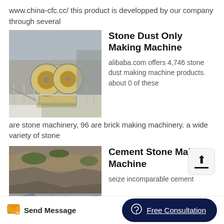www.china-cfc.cc/ this product is developped by our company through several
[Figure (photo): Industrial stone crushing machine with large flywheels on a platform with metal railings, outdoor industrial setting]
Stone Dust Only Making Machine
alibaba.com offers 4,746 stone dust making machine products. about 0 of these are stone machinery, 96 are brick making machinery. a wide variety of stone
[Figure (photo): Rocky cliff face or quarry with vegetation and debris at the base, outdoor setting]
Cement Stone Making Machine
seize incomparable cement
Send Message   Free Consultation